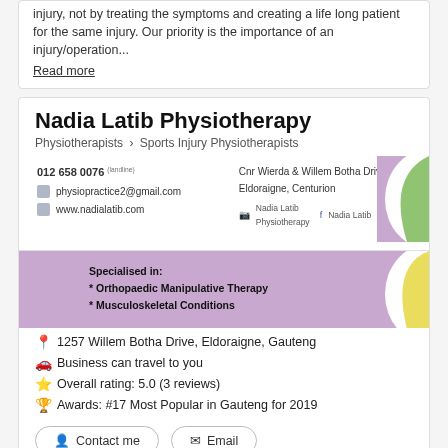injury, not by treating the symptoms and creating a life long patient for the same injury. Our priority is the importance of an injury/operation... Read more
Nadia Latib Physiotherapy
Physiotherapists > Sports Injury Physiotherapists
[Figure (infographic): Business letterhead / contact card for Nadia Latib Physiotherapy showing phone 012 658 0076, email physiopractice2@gmail.com, website www.nadialatib.com, address Cnr Wierda & Willem Botha Drive, Eldoraigne, Centurion, social links. Lower half shows purple background with 'Specialised in: * Orthopaedic Manipulative Therapy * Musculoskeletal Conditions' and a green/yellow arc design.]
1257 Willem Botha Drive, Eldoraigne, Gauteng
Business can travel to you
Overall rating: 5.0 (3 reviews)
Awards: #17 Most Popular in Gauteng for 2019
Contact me
Email